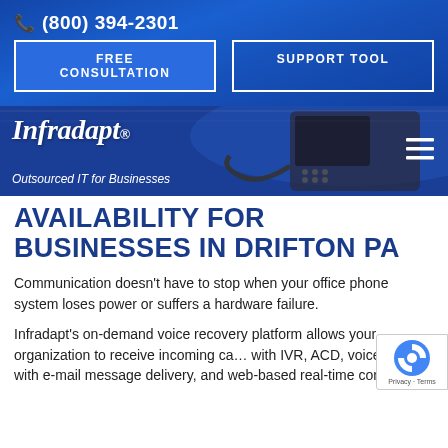(800) 394-2301
FREE CONSULTATION
SUPPORT TOOL
[Figure (logo): Infradapt brand logo with phone image background, tagline: Outsourced IT for Businesses, hamburger menu icon]
AVAILABILITY FOR BUSINESSES IN DRIFTON PA
Communication doesn't have to stop when your office phone system loses power or suffers a hardware failure.
Infradapt's on-demand voice recovery platform allows your organization to receive incoming calls with IVR, ACD, voicemail with e-mail message delivery, and web-based real-time control.